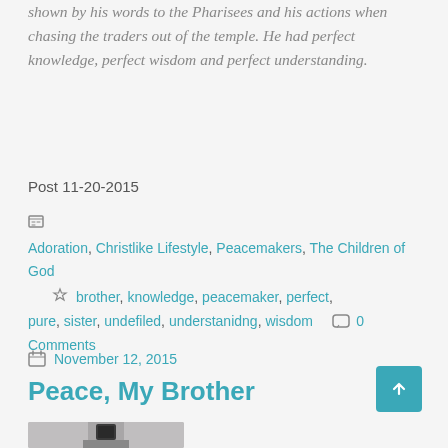shown by his words to the Pharisees and his actions when chasing the traders out of the temple. He had perfect knowledge, perfect wisdom and perfect understanding.
Post 11-20-2015
Adoration, Christlike Lifestyle, Peacemakers, The Children of God   brother, knowledge, peacemaker, perfect, pure, sister, undefiled, understanidng, wisdom   0 Comments
November 12, 2015
Peace, My Brother
[Figure (photo): Lighthouse top section photo, partial view]